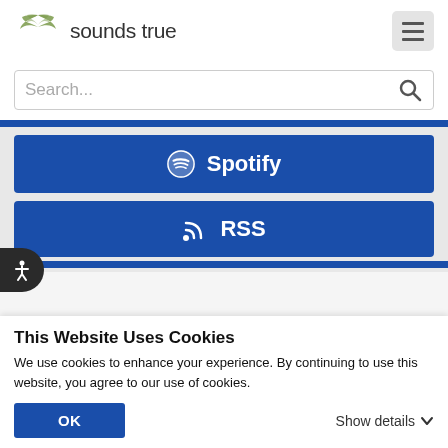[Figure (logo): Sounds True logo with stylized green wing icon and text 'sounds true']
Search...
[Figure (other): Spotify button - blue rectangle with Spotify logo and text 'Spotify']
[Figure (other): RSS button - blue rectangle with RSS icon and text 'RSS']
This Website Uses Cookies
We use cookies to enhance your experience. By continuing to use this website, you agree to our use of cookies.
OK
Show details